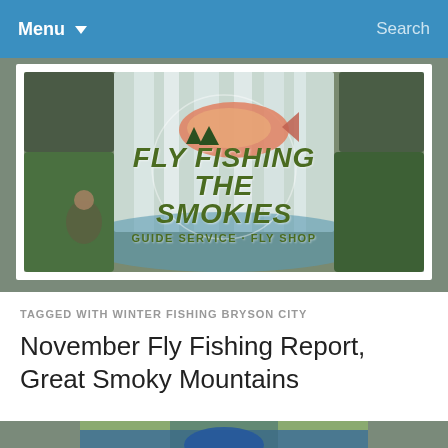Menu  Search
[Figure (logo): Fly Fishing The Smokies logo with trout fish graphic over waterfall background. Text: FLY FISHING THE SMOKIES - GUIDE SERVICE - FLY SHOP]
TAGGED WITH WINTER FISHING BRYSON CITY
November Fly Fishing Report, Great Smoky Mountains
[Figure (photo): Person in outdoor nature setting, fly fishing scene in Great Smoky Mountains area]